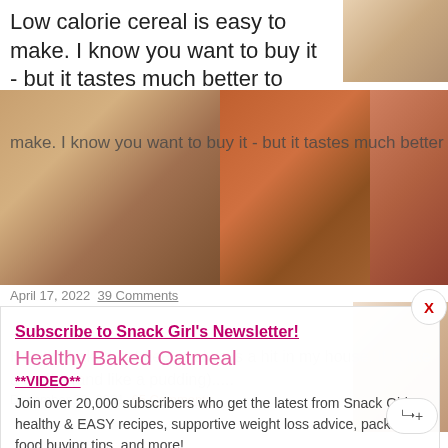Low calorie cereal is easy to make. I know you want to buy it - but it tastes much better to make it.........
[Figure (photo): Food blog image strip showing waffles with berries, oatmeal in orange pot, and stuffed peppers with cheese]
April 17, 2022  39 Comments
Subscribe to Snack Girl's Newsletter!
Healthy Baked Oatmeal
**VIDEO**
Join over 20,000 subscribers who get the latest from Snack Girl - healthy & EASY recipes, supportive weight loss advice, packaged food buying tips, and more!
Healthy baked oatmeal is always a hit in my house. It is like a muffin (and like a pudding).....
enter your email address
Subscribe
December 29, 2021  65 Comments